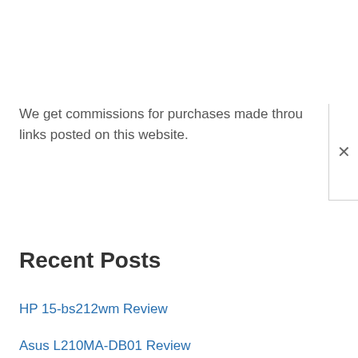We get commissions for purchases made through links posted on this website.
Recent Posts
HP 15-bs212wm Review
Asus L210MA-DB01 Review
Asus VivoBook 15 X540UADB7 Review
Acer Nitro 5 AN515-54W2 Review